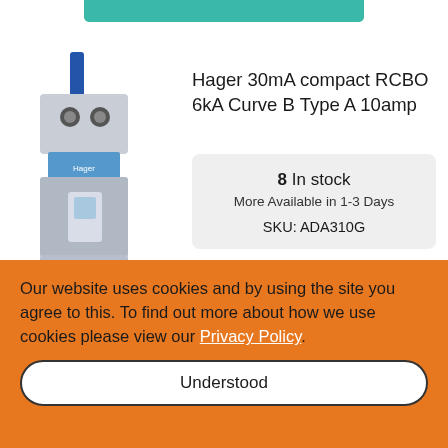Hager 30mA compact RCBO 6kA Curve B Type A 10amp
[Figure (photo): Hager compact RCBO device with blue handle on top, grey body with DIN rail clip]
8 In stock
More Available in 1-3 Days
SKU: ADA310G
Our website uses cookies and by using the site you agree to this. To find out more about how we use cookies please view our Privacy Policy.
Understood